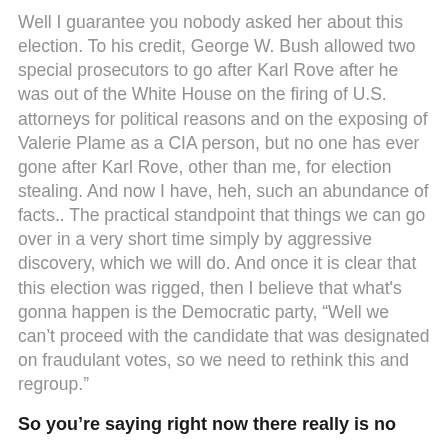Well I guarantee you nobody asked her about this election. To his credit, George W. Bush allowed two special prosecutors to go after Karl Rove after he was out of the White House on the firing of U.S. attorneys for political reasons and on the exposing of Valerie Plame as a CIA person, but no one has ever gone after Karl Rove, other than me, for election stealing. And now I have, heh, such an abundance of facts.. The practical standpoint that things we can go over in a very short time simply by aggressive discovery, which we will do. And once it is clear that this election was rigged, then I believe that what's gonna happen is the Democratic party, “Well we can’t proceed with the candidate that was designated on fraudulant votes, so we need to rethink this and regroup.”
So you’re saying right now there really is no